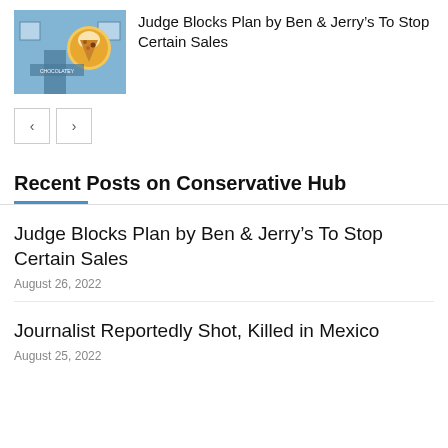[Figure (photo): Ben & Jerry's ice cream shop storefront with sign]
Judge Blocks Plan by Ben & Jerry’s To Stop Certain Sales
[Figure (other): Navigation previous and next buttons]
Recent Posts on Conservative Hub
Judge Blocks Plan by Ben & Jerry’s To Stop Certain Sales
August 26, 2022
Journalist Reportedly Shot, Killed in Mexico
August 25, 2022